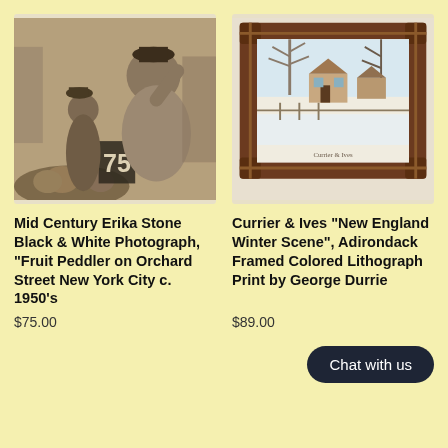[Figure (photo): Black and white photograph of a large man pointing at fruit at an outdoor market stall on Orchard Street, New York City, with a price sign showing 75 cents, c. 1950s]
[Figure (photo): Framed colored lithograph print of a New England winter scene in an Adirondack-style rustic wood frame — Currier & Ives, by George Durrie]
Mid Century Erika Stone Black & White Photograph, "Fruit Peddler on Orchard Street New York City c. 1950's
Currier & Ives "New England Winter Scene", Adirondack Framed Colored Lithograph Print by George Durrie
$75.00
$89.00
Chat with us